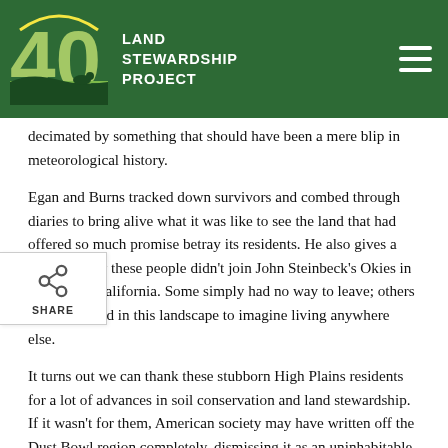LAND STEWARDSHIP PROJECT
decimated by something that should have been a mere blip in meteorological history.
Egan and Burns tracked down survivors and combed through diaries to bring alive what it was like to see the land that had offered so much promise betray its residents. He also gives a sense of why these people didn’t join John Steinbeck’s Okies in heading to California. Some simply had no way to leave; others felt too rooted in this landscape to imagine living anywhere else.
It turns out we can thank these stubborn High Plains residents for a lot of advances in soil conservation and land stewardship. If it wasn’t for them, American society may have written off the Dust Bowl region completely, dismissing it as an uninhabitable wasteland. But they stuck it out, and their stories got back to Washington, D.C.
What also got back to the government was a convincing argument that humans had played a major part in this problem. As the film